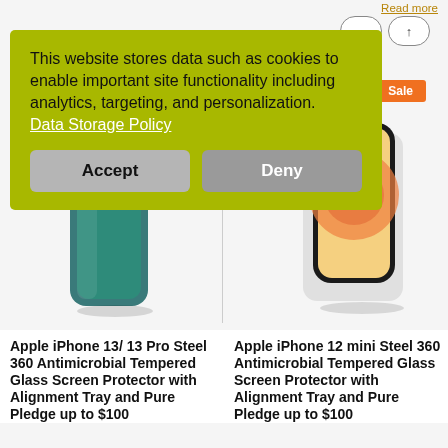Read more
[Figure (screenshot): Two Apple iPhone product images side by side. Left: iPhone 13/13 Pro in teal/green color. Right: iPhone 12 mini with screen protector applied, white/gray backing. Orange 'Sale' badge on right product.]
This website stores data such as cookies to enable important site functionality including analytics, targeting, and personalization. Data Storage Policy
Accept
Deny
Apple iPhone 13/ 13 Pro Steel 360 Antimicrobial Tempered Glass Screen Protector with Alignment Tray and Pure Pledge up to $100
Apple iPhone 12 mini Steel 360 Antimicrobial Tempered Glass Screen Protector with Alignment Tray and Pure Pledge up to $100